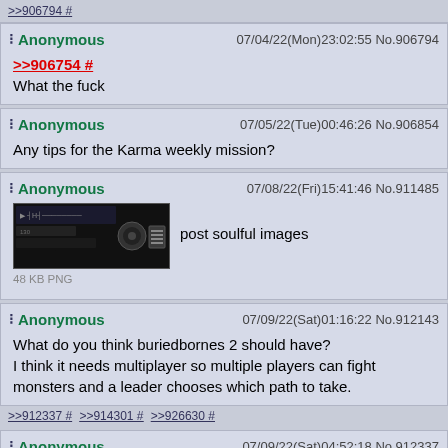>>906794 #
Anonymous 07/04/22(Mon)23:02:55 No.906794
>>906754 #
What the fuck
Anonymous 07/05/22(Tue)00:46:26 No.906854
Any tips for the Karma weekly mission?
Anonymous 07/08/22(Fri)15:41:46 No.911485
[image 48 KB PNG] post soulful images
Anonymous 07/09/22(Sat)01:16:22 No.912143
What do you think buriedbornes 2 should have?
I think it needs multiplayer so multiple players can fight monsters and a leader chooses which path to take.
>>912337 # >>914301 # >>926630 #
Anonymous 07/09/22(Sat)04:52:18 No.912337